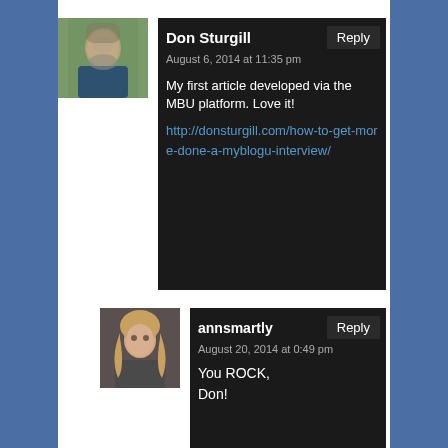[Figure (photo): Avatar photo of Don Sturgill, a man with gray beard and blue shirt outdoors]
Don Sturgill
Reply
August 6, 2014 at 11:35 pm
My first article developed via the MBU platform. Love it!
http://donsturgill.com/how-to-get-more-done-a-myblogu-interview/
[Figure (photo): Avatar photo of annsmartly, a woman with long blonde hair]
annsmartly
Reply
August 20, 2014 at 0:49 pm
You ROCK, Don!